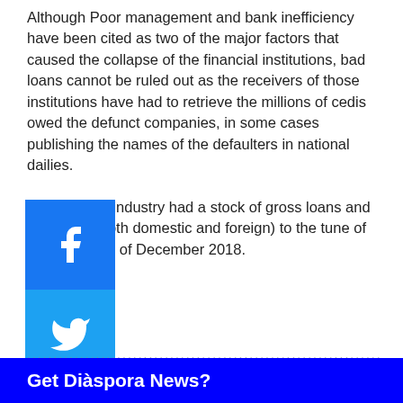Although Poor management and bank inefficiency have been cited as two of the major factors that caused the collapse of the financial institutions, bad loans cannot be ruled out as the receivers of those institutions have had to retrieve the millions of cedis owed the defunct companies, in some cases publishing the names of the defaulters in national dailies.

The banking industry had a stock of gross loans and advances (both domestic and foreign) to the tune of GH¢billion as of December 2018.
[Figure (illustration): Social media share buttons: Facebook (blue), Twitter (light blue), Instagram (pink/red), YouTube (red)]
Source: citibusinessnews
...................................................................
Get Diàspora News?